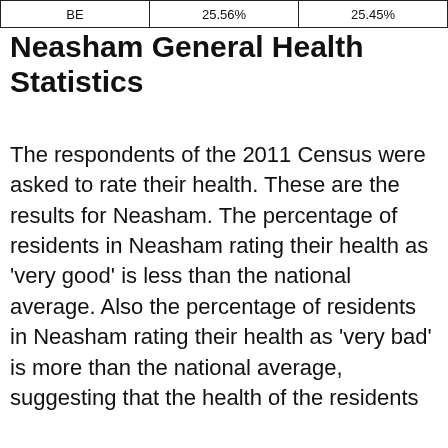| BE | 25.56% | 25.45% |
| --- | --- | --- |
Neasham General Health Statistics
The respondents of the 2011 Census were asked to rate their health. These are the results for Neasham. The percentage of residents in Neasham rating their health as 'very good' is less than the national average. Also the percentage of residents in Neasham rating their health as 'very bad' is more than the national average, suggesting that the health of the residents